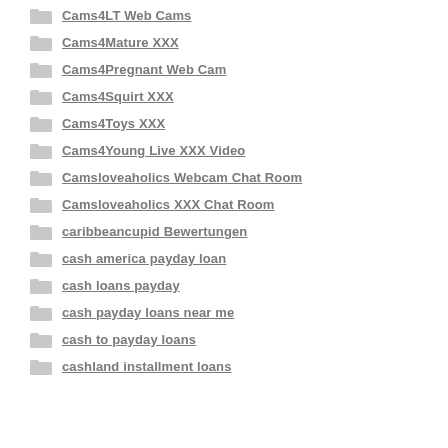Cams4LT Web Cams
Cams4Mature XXX
Cams4Pregnant Web Cam
Cams4Squirt XXX
Cams4Toys XXX
Cams4Young Live XXX Video
Camsloveaholics Webcam Chat Room
Camsloveaholics XXX Chat Room
caribbeancupid Bewertungen
cash america payday loan
cash loans payday
cash payday loans near me
cash to payday loans
cashland installment loans